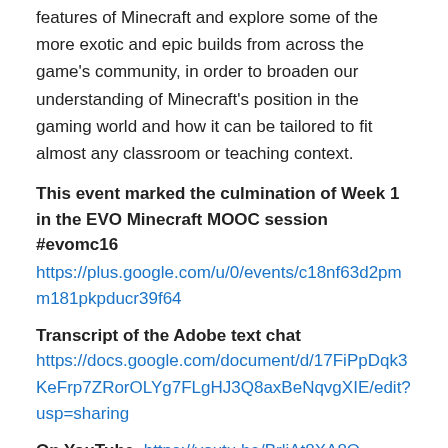features of Minecraft and explore some of the more exotic and epic builds from across the game's community, in order to broaden our understanding of Minecraft's position in the gaming world and how it can be tailored to fit almost any classroom or teaching context.
This event marked the culmination of Week 1 in the EVO Minecraft MOOC session #evomc16
https://plus.google.com/u/0/events/c18nf63d2pmm181pkpducr39f64
Transcript of the Adobe text chat
https://docs.google.com/document/d/17FiPpDqk3KeFrp7ZRorOLYg7FLgHJ3Q8axBeNqvgXIE/edit?usp=sharing
On YouTube, https://youtu.be/BrliAt8XA8Q
Reflections